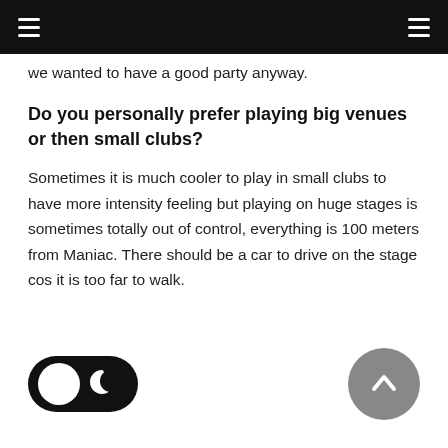≡  ≡
we wanted to have a good party anyway.
Do you personally prefer playing big venues or then small clubs?
Sometimes it is much cooler to play in small clubs to have more intensity feeling but playing on huge stages is sometimes totally out of control, everything is 100 meters from Maniac. There should be a car to drive on the stage cos it is too far to walk.
[Figure (illustration): Dark mode toggle switch (off/moon) and scroll-to-top button (grey circle with up chevron)]